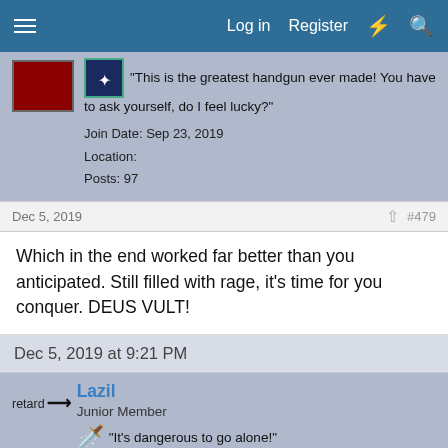Log in  Register
"This is the greatest handgun ever made! You have to ask yourself, do I feel lucky?"  Join Date: Sep 23, 2019  Location:  Posts: 97
Dec 5, 2019  #479
Which in the end worked far better than you anticipated. Still filled with rage, it's time for you conquer. DEUS VULT!
Dec 5, 2019 at 9:21 PM
retard → Lazil  Junior Member  🗡️ "It's dangerous to go alone!"  Join Date: Aug 5, 2019  Location: Hell  Posts: 41
Dec 5, 2019